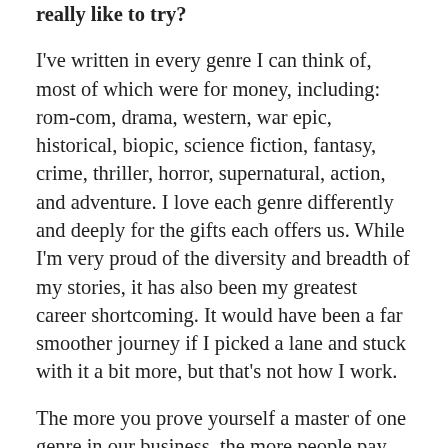really like to try?
I've written in every genre I can think of, most of which were for money, including: rom-com, drama, western, war epic, historical, biopic, science fiction, fantasy, crime, thriller, horror, supernatural, action, and adventure. I love each genre differently and deeply for the gifts each offers us. While I'm very proud of the diversity and breadth of my stories, it has also been my greatest career shortcoming. It would have been a far smoother journey if I picked a lane and stuck with it a bit more, but that's not how I work.
The more you prove yourself a master of one genre in our business, the more people pay you